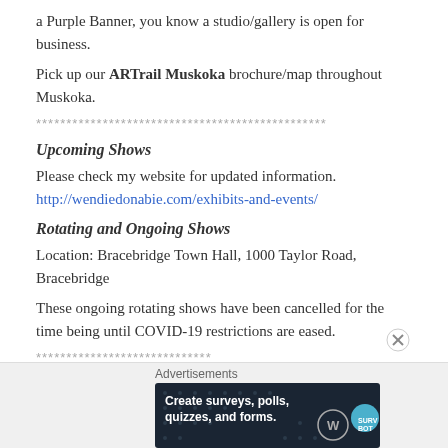a Purple Banner, you know a studio/gallery is open for business.
Pick up our ARTrail Muskoka brochure/map throughout Muskoka.
************************************************
Upcoming Shows
Please check my website for updated information.
http://wendiedonabie.com/exhibits-and-events/
Rotating and Ongoing Shows
Location: Bracebridge Town Hall, 1000 Taylor Road, Bracebridge
These ongoing rotating shows have been cancelled for the time being until COVID-19 restrictions are eased.
*****************************
Advertisements
[Figure (other): Advertisement banner: Create surveys, polls, quizzes, and forms. WordPress and SurveyBot logos.]